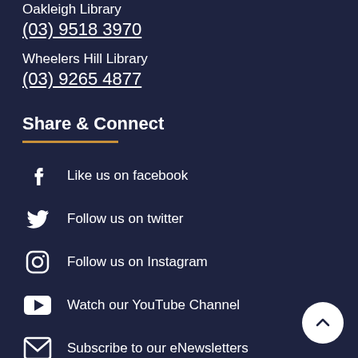Oakleigh Library
(03) 9518 3970
Wheelers Hill Library
(03) 9265 4877
Share & Connect
Like us on facebook
Follow us on twitter
Follow us on Instagram
Watch our YouTube Channel
Subscribe to our eNewsletters